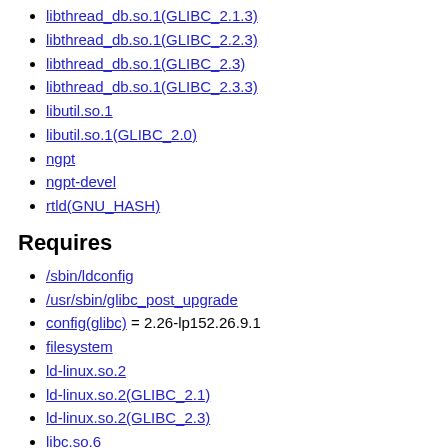libthread_db.so.1(GLIBC_2.1.3)
libthread_db.so.1(GLIBC_2.2.3)
libthread_db.so.1(GLIBC_2.3)
libthread_db.so.1(GLIBC_2.3.3)
libutil.so.1
libutil.so.1(GLIBC_2.0)
ngpt
ngpt-devel
rtld(GNU_HASH)
Requires
/sbin/ldconfig
/usr/sbin/glibc_post_upgrade
config(glibc) = 2.26-lp152.26.9.1
filesystem
ld-linux.so.2
ld-linux.so.2(GLIBC_2.1)
ld-linux.so.2(GLIBC_2.3)
libc.so.6
libc.so.6(GLIBC_2.0)
libc.so.6(GLIBC_2.1)
libc.so.6(GLIBC_2.1.1)
libc.so.6(GLIBC_2.1.3)
libc.so.6(GLIBC_2.1x)